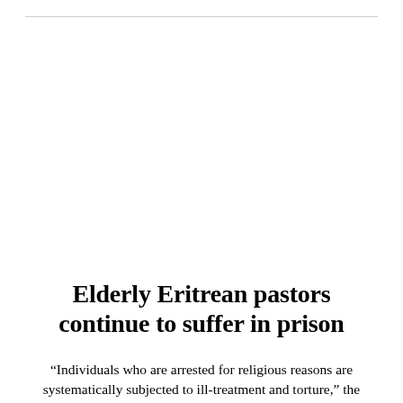Elderly Eritrean pastors continue to suffer in prison
“Individuals who are arrested for religious reasons are systematically subjected to ill-treatment and torture,” the